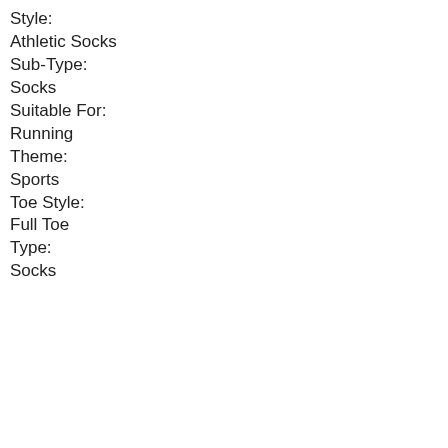Style:
Athletic Socks
Sub-Type:
Socks
Suitable For:
Running
Theme:
Sports
Toe Style:
Full Toe
Type:
Socks